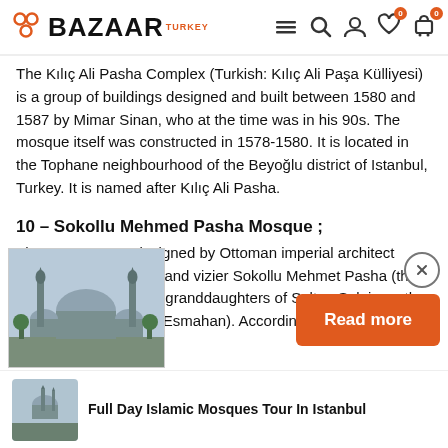BAZAAR TURKEY
The Kılıç Ali Pasha Complex (Turkish: Kılıç Ali Paşa Külliyesi) is a group of buildings designed and built between 1580 and 1587 by Mimar Sinan, who at the time was in his 90s. The mosque itself was constructed in 1578-1580. It is located in the Tophane neighbourhood of the Beyoğlu district of Istanbul, Turkey. It is named after Kılıç Ali Pasha.
10 – Sokollu Mehmed Pasha Mosque ;
The mosque was designed by Ottoman imperial architect Mimar Sinan for the grand vizier Sokollu Mehmet Pasha (the husband of one of the granddaughters of Sultan Suleiman the Magnificent, Princess Esmahan). According to the foundation
[Figure (photo): Photo of a mosque with minarets, domed architecture, overcast sky]
Read more
[Figure (photo): Thumbnail of mosque exterior]
Full Day Islamic Mosques Tour In Istanbul